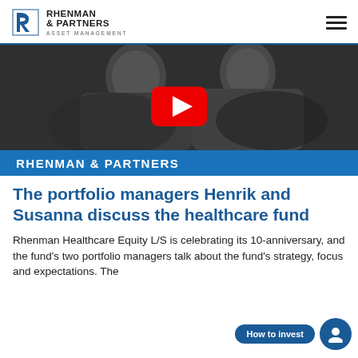RHENMAN & PARTNERS ASSET MANAGEMENT
[Figure (screenshot): YouTube video thumbnail showing two people (a man and a woman) looking down at something, in black and white. A red YouTube play button is overlaid in the center. A blue banner at the bottom reads 'RHENMAN & PARTNERS'.]
The portfolio managers Henrik and Susanna discuss the healthcare fund
Rhenman Healthcare Equity L/S is celebrating its 10-anniversary, and the fund's two portfolio managers talk about the fund's strategy, focus and expectations. The